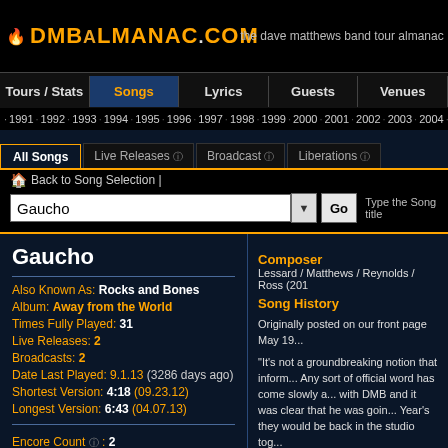DMBAlmanac.com — the dave matthews band tour almanac
Tours / Stats | Songs | Lyrics | Guests | Venues
· 1991 · 1992 · 1993 · 1994 · 1995 · 1996 · 1997 · 1998 · 1999 · 2000 · 2001 · 2002 · 2003 · 2004 · 20...
All Songs | Live Releases | Broadcast | Liberations
Back to Song Selection |
Gaucho
Gaucho
Also Known As: Rocks and Bones
Album: Away from the World
Times Fully Played: 31
Live Releases: 2
Broadcasts: 2
Date Last Played: 9.1.13 (3286 days ago)
Shortest Version: 4:18 (09.23.12)
Longest Version: 6:43 (04.07.13)
Encore Count: 2
Composer
Lessard / Matthews / Reynolds / Ross (201...
Song History
Originally posted on our front page May 19...

"It's not a groundbreaking notion that inform... Any sort of official word has come slowly a... with DMB and it was clear that he was goin... Year's they would be back in the studio tog...

Near the end of the sessions, Steve starte... that, neither he nor management divulged a... silence was broken with a blast on May 18,... Tour. Contributing to the surprise was the r... archive video of an unreleased show and th...

A link to the song (click here) was sent ou... was as brief as he usually is: "Hey everybo... Summer Tour logo. A message also narrow...

The song has unique traits that haven't bee... across the board in regards to their clarity... "change" and their affiliation with Proc...